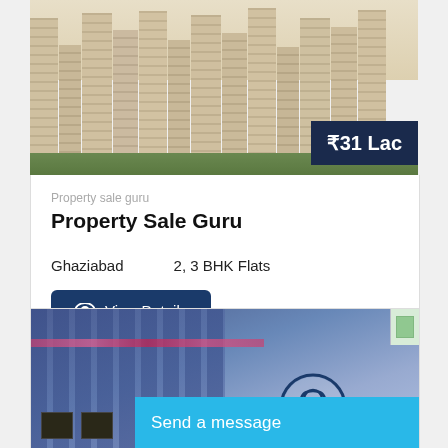[Figure (photo): Aerial view of tall residential apartment towers with beige/cream facade, green trees at base. Price badge showing ₹31 Lac in bottom right corner.]
Property sale guru
Property Sale Guru
Ghaziabad    2, 3 BHK Flats
View Details
[Figure (photo): Blue-tinted residential building with balconies and flowers. A customer service agent icon circle and 'Send a message' blue bar overlaid at bottom.]
Send a message